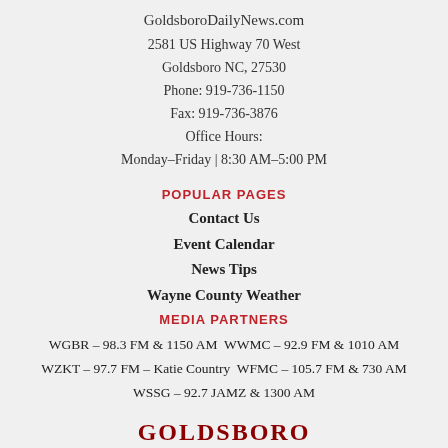GoldsboroDailyNews.com
2581 US Highway 70 West
Goldsboro NC, 27530
Phone: 919-736-1150
Fax: 919-736-3876
Office Hours:
Monday–Friday | 8:30 AM–5:00 PM
POPULAR PAGES
Contact Us
Event Calendar
News Tips
Wayne County Weather
MEDIA PARTNERS
WGBR – 98.3 FM & 1150 AM  WWMC – 92.9 FM & 1010 AM
WZKT – 97.7 FM – Katie Country  WFMC – 105.7 FM & 730 AM
WSSG – 92.7 JAMZ & 1300 AM
[Figure (logo): Goldsboro Daily News logo with red and black text]